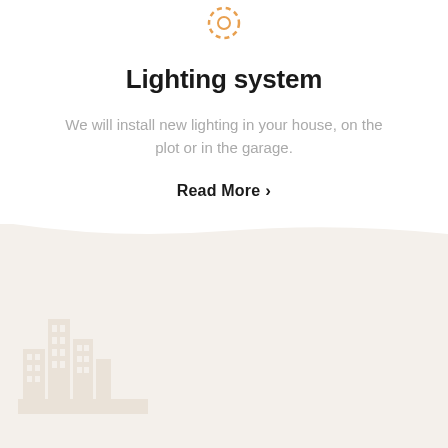[Figure (illustration): Orange circular icon (lightbulb or sun ring) at top center of white section]
Lighting system
We will install new lighting in your house, on the plot or in the garage.
Read More >
[Figure (illustration): Background section with beige/cream color and faint building/city skyline illustration in bottom left corner]